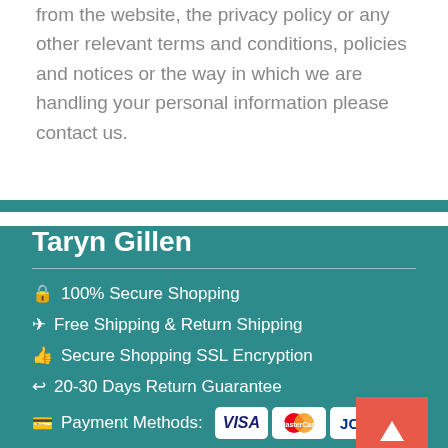from the website, the privacy policy or any other relevant terms and conditions, policies and notices or the way in which we are handling your personal information please contact us.
Taryn Gillen
🔒 100% Secure Shopping
✈ Free Shipping & Return Shipping
👍 Secure Shopping SSL Encryption
↩ 20-30 Days Return Guarantee
💳 Payment Methods: VISA MasterCard JCB
HOT SALE